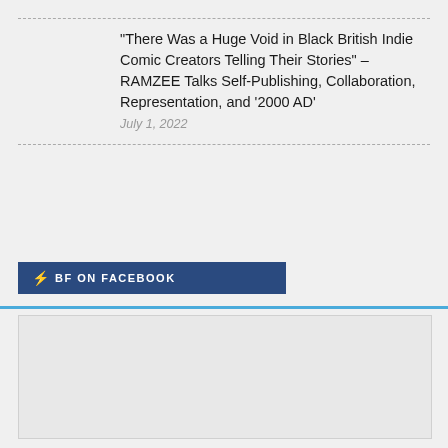“There Was a Huge Void in Black British Indie Comic Creators Telling Their Stories” – RAMZEE Talks Self-Publishing, Collaboration, Representation, and ‘2000 AD’
July 1, 2022
BF ON FACEBOOK
[Figure (other): Empty placeholder box for Facebook widget content]